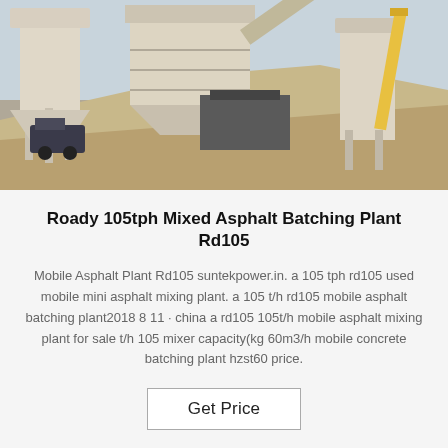[Figure (photo): Industrial asphalt batching plant with white metal silos, conveyor belts, and sand pile in foreground]
Roady 105tph Mixed Asphalt Batching Plant Rd105
Mobile Asphalt Plant Rd105 suntekpower.in. a 105 tph rd105 used mobile mini asphalt mixing plant. a 105 t/h rd105 mobile asphalt batching plant2018 8 11 · china a rd105 105t/h mobile asphalt mixing plant for sale t/h 105 mixer capacity(kg 60m3/h mobile concrete batching plant hzst60 price.
Get Price
[Figure (photo): Partial view of yellow industrial equipment at bottom of page]